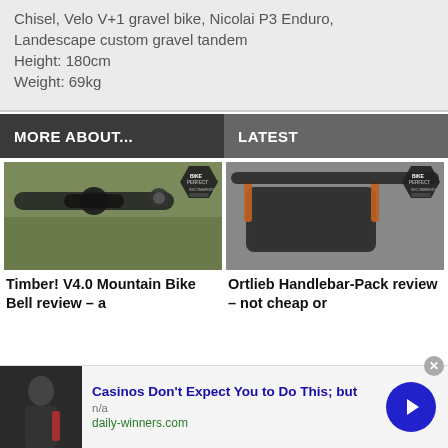Chisel, Velo V+1 gravel bike, Nicolai P3 Enduro, Landescape custom gravel tandem
Height: 180cm
Weight: 69kg
MORE ABOUT...
LATEST
[Figure (photo): Close-up of a mountain bike handlebar grip with a bell attached, with BikePerfect Recommended badge]
Timber! V4.0 Mountain Bike Bell review – a
[Figure (photo): Ortlieb handlebar pack mounted on a bike, with BikePerfect Recommended badge]
Ortlieb Handlebar-Pack review – not cheap or
[Figure (photo): Advertisement thumbnail showing a person with a backpack]
Casinos Don't Expect You to Do This; but
n/a
daily-winners.com